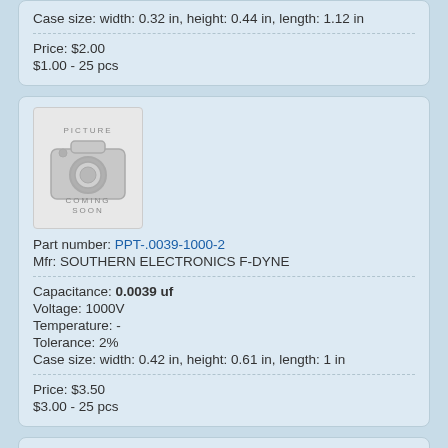Case size: width: 0.32 in, height: 0.44 in, length: 1.12 in
Price: $2.00
$1.00 - 25 pcs
[Figure (photo): Picture Coming Soon placeholder with camera icon]
Part number: PPT-.0039-1000-2
Mfr: SOUTHERN ELECTRONICS F-DYNE
Capacitance: 0.0039 uf
Voltage: 1000V
Temperature: -
Tolerance: 2%
Case size: width: 0.42 in, height: 0.61 in, length: 1 in
Price: $3.50
$3.00 - 25 pcs
[Figure (photo): Photo of a yellow capacitor component]